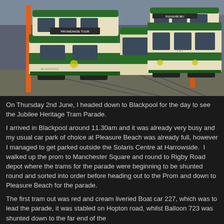[Figure (photo): Three vintage green and cream Blackpool double-decker trams lined up in what appears to be a depot or yard. The tram on the left (number 723) displays 'PROMENADE TOUR' on its destination board. The tram on the right is numbered 717. Orange poles are visible in the background along with industrial buildings.]
On Thursday 2nd June, I headed down to Blackpool for the day to see the Jubilee Heritage Tram Parade.
I arrived in Blackpool around 11.30am and it was already very busy and my usual car park of choice at Pleasure Beach was already full, however I managed to get parked outside the Solaris Centre at Harrowside.  I walked up the prom to Manchester Square and round to Rigby Road depot where the trams for the parade were beginning to be shunted round and sorted into order before heading out to the Prom and down to Pleasure Beach for the parade.
The first tram out was red and cream liveried Boat car 227, which was to lead the parade, it was stabled on Hopton road, whilst Balloon 723 was shunted down to the far end of the